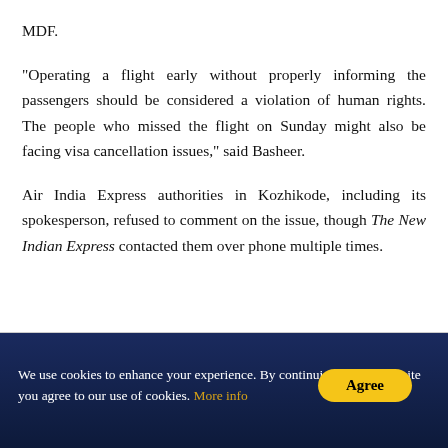MDF.
"Operating a flight early without properly informing the passengers should be considered a violation of human rights. The people who missed the flight on Sunday might also be facing visa cancellation issues," said Basheer.
Air India Express authorities in Kozhikode, including its spokesperson, refused to comment on the issue, though The New Indian Express contacted them over phone multiple times.
We use cookies to enhance your experience. By continuing to visit our site you agree to our use of cookies. More info